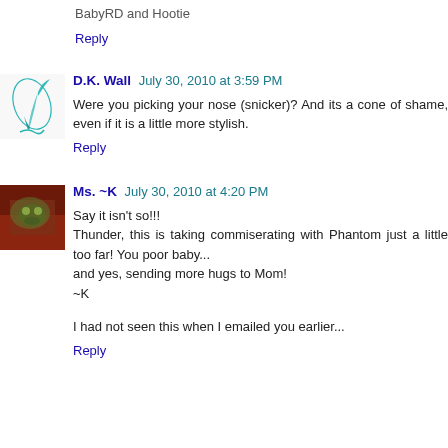BabyRD and Hootie
Reply
D.K. Wall  July 30, 2010 at 3:59 PM
Were you picking your nose (snicker)? And its a cone of shame, even if it is a little more stylish.
Reply
Ms. ~K  July 30, 2010 at 4:20 PM
Say it isn't so!!!
Thunder, this is taking commiserating with Phantom just a little too far! You poor baby...
and yes, sending more hugs to Mom!
~K

I had not seen this when I emailed you earlier...
Reply